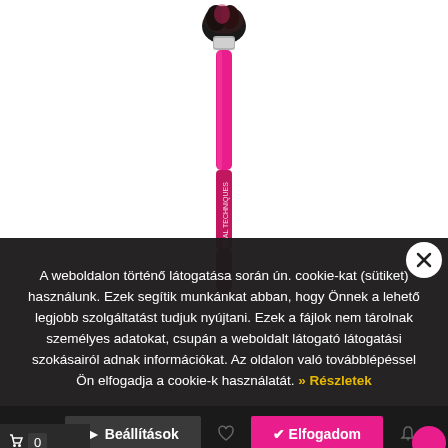[Figure (photo): A pink makeup blending brush (Real Techniques brand) with dark bristles at the top and a bright pink metallic handle, photographed vertically against a white background.]
A weboldalon történő látogatása során ún. cookie-kat (sütiket) használunk. Ezek segítik munkánkat abban, hogy Önnek a lehető legjobb szolgáltatást tudjuk nyújtani. Ezek a fájlok nem tárolnak személyes adatokat, csupán a weboldalt látogató látogatási szokásairól adnak információkat. Az oldalon való továbblépéssel Ön elfogadja a cookie-k használatát. > Részletek